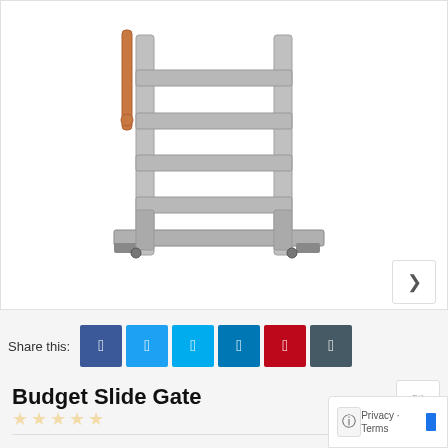[Figure (photo): Product photo of a Budget Slide Gate — a silver aluminum multi-step livestock slide gate/ladder with horizontal steps and copper/orange handle hardware, shown on white background.]
Share this:
Budget Slide Gate
☆☆☆☆☆
SKU: CAV SG BUDGET.
Categories: Cavalier Livestock Equipment, Portable Race...